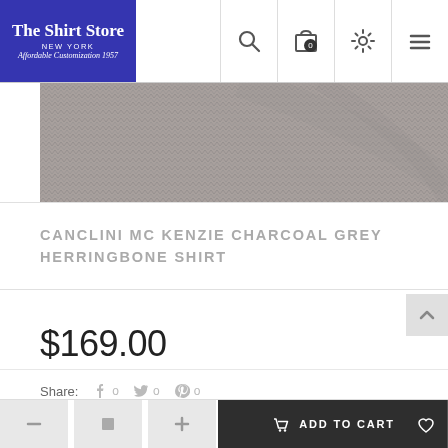The Shirt Store New York — navigation bar with search, cart (0), settings, and menu icons
[Figure (photo): Close-up of charcoal grey herringbone fabric texture]
CANCLINI MC KENZIE CHARCOAL GREY HERRINGBONE SHIRT
$169.00
Share: 0  0  0
ADD TO CART